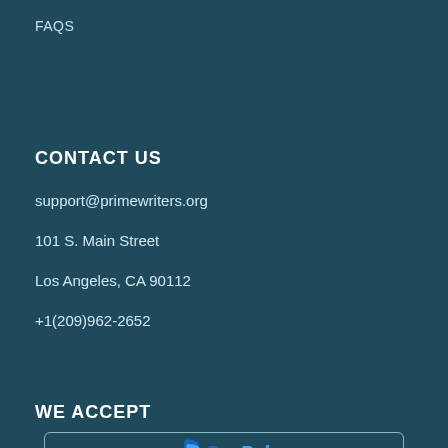FAQS
CONTACT US
support@primewriters.org
101 S. Main Street
Los Angeles, CA 90112
+1(209)962-2652
WE ACCEPT
[Figure (logo): PayPal logo inside a rounded rectangle border]